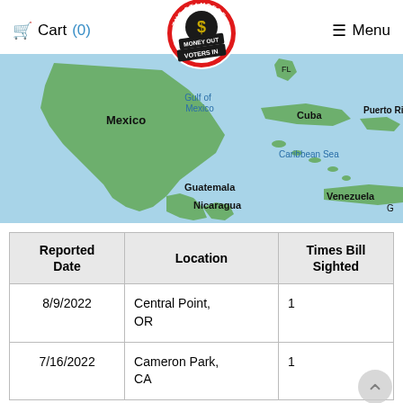Cart (0)  [Logo: The Stampede – Money Out Voters In]  Menu
[Figure (map): Map showing Central America, Caribbean Sea, Gulf of Mexico, with labels: FL, Gulf of Mexico, Mexico, Cuba, Puerto Rico, Guatemala, Caribbean Sea, Nicaragua, Venezuela]
| Reported Date | Location | Times Bill Sighted |
| --- | --- | --- |
| 8/9/2022 | Central Point, OR | 1 |
| 7/16/2022 | Cameron Park, CA | 1 |